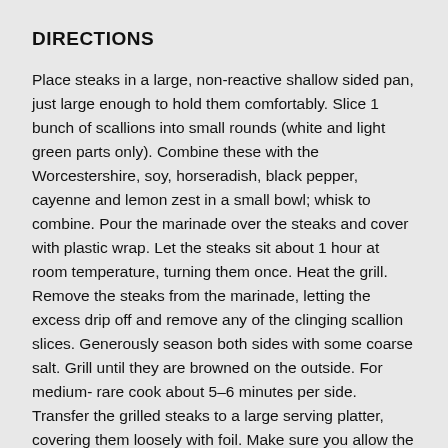DIRECTIONS
Place steaks in a large, non-reactive shallow sided pan, just large enough to hold them comfortably. Slice 1 bunch of scallions into small rounds (white and light green parts only). Combine these with the Worcestershire, soy, horseradish, black pepper, cayenne and lemon zest in a small bowl; whisk to combine. Pour the marinade over the steaks and cover with plastic wrap. Let the steaks sit about 1 hour at room temperature, turning them once. Heat the grill. Remove the steaks from the marinade, letting the excess drip off and remove any of the clinging scallion slices. Generously season both sides with some coarse salt. Grill until they are browned on the outside. For medium-rare cook about 5–6 minutes per side. Transfer the grilled steaks to a large serving platter, covering them loosely with foil. Make sure you allow the steam to